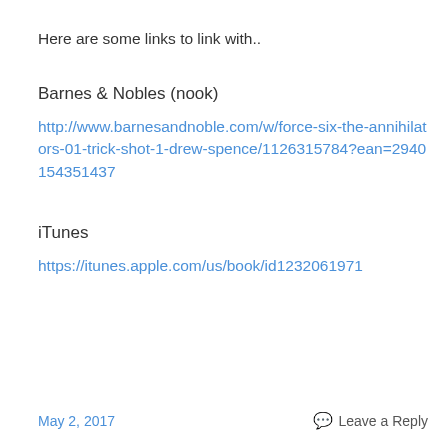Here are some links to link with..
Barnes & Nobles (nook)
http://www.barnesandnoble.com/w/force-six-the-annihilators-01-trick-shot-1-drew-spence/1126315784?ean=2940154351437
iTunes
https://itunes.apple.com/us/book/id1232061971
May 2, 2017    Leave a Reply